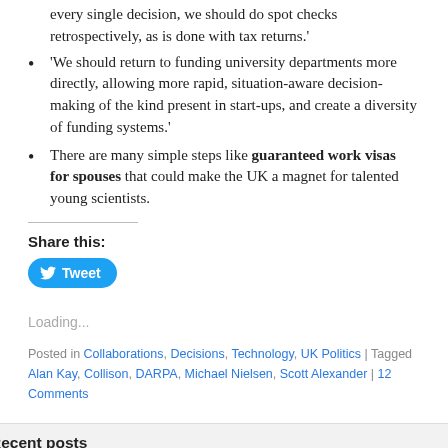every single decision, we should do spot checks retrospectively, as is done with tax returns.'
'We should return to funding university departments more directly, allowing more rapid, situation-aware decision-making of the kind present in start-ups, and create a diversity of funding systems.'
There are many simple steps like guaranteed work visas for spouses that could make the UK a magnet for talented young scientists.
Share this:
Tweet
Loading...
Posted in Collaborations, Decisions, Technology, UK Politics | Tagged Alan Kay, Collison, DARPA, Michael Nielsen, Scott Alexander | 12 Comments
Recent posts